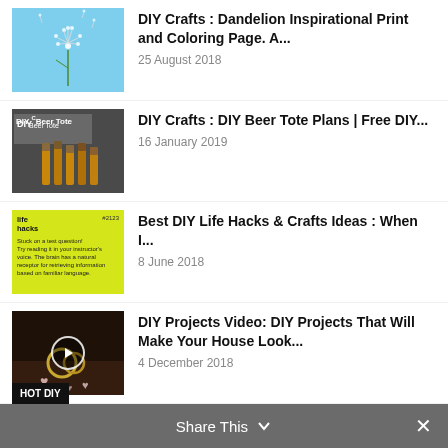DIY Crafts : Dandelion Inspirational Print and Coloring Page. A...
25 August 2018
DIY Crafts : DIY Beer Tote Plans | Free DIY...
16 January 2019
Best DIY Life Hacks & Crafts Ideas : When I...
8 June 2018
DIY Projects Video: DIY Projects That Will Make Your House Look...
4 December 2018
Load more
Share This  ✕